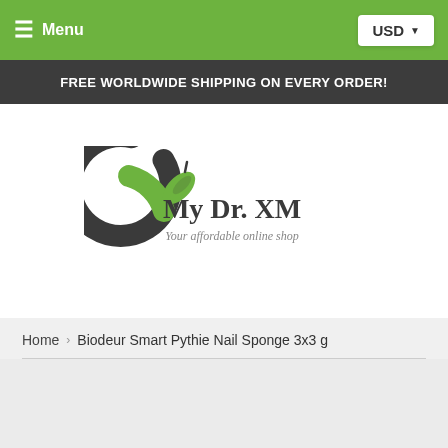≡ Menu | USD ▼
FREE WORLDWIDE SHIPPING ON EVERY ORDER!
[Figure (logo): My Dr. XM logo — circular leaf/arc emblem in green and dark gray, with text 'My Dr. XM' and subtitle 'Your affordable online shop']
Home › Biodeur Smart Pythie Nail Sponge 3x3 g